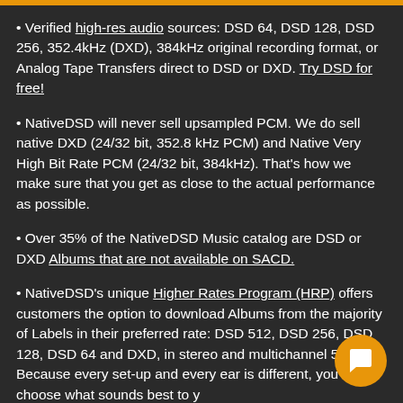Verified high-res audio sources: DSD 64, DSD 128, DSD 256, 352.4kHz (DXD), 384kHz original recording format, or Analog Tape Transfers direct to DSD or DXD. Try DSD for free!
NativeDSD will never sell upsampled PCM. We do sell native DXD (24/32 bit, 352.8 kHz PCM) and Native Very High Bit Rate PCM (24/32 bit, 384kHz). That's how we make sure that you get as close to the actual performance as possible.
Over 35% of the NativeDSD Music catalog are DSD or DXD Albums that are not available on SACD.
NativeDSD's unique Higher Rates Program (HRP) offers customers the option to download Albums from the majority of Labels in their preferred rate: DSD 512, DSD 256, DSD 128, DSD 64 and DXD, in stereo and multichannel 5.0, 5.1. Because every set-up and every ear is different, you choose what sounds best to y…